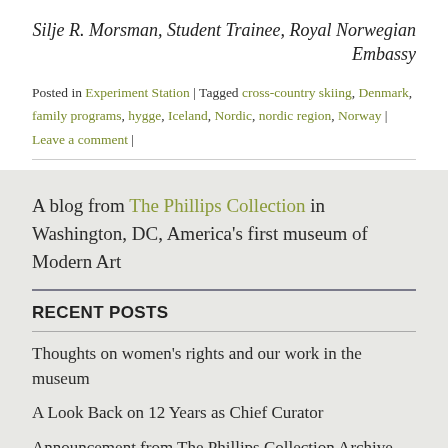Silje R. Morsman, Student Trainee, Royal Norwegian Embassy
Posted in Experiment Station | Tagged cross-country skiing, Denmark, family programs, hygge, Iceland, Nordic, nordic region, Norway | Leave a comment |
A blog from The Phillips Collection in Washington, DC, America's first museum of Modern Art
RECENT POSTS
Thoughts on women's rights and our work in the museum
A Look Back on 12 Years as Chief Curator
Announcement from The Phillips Collection Archive